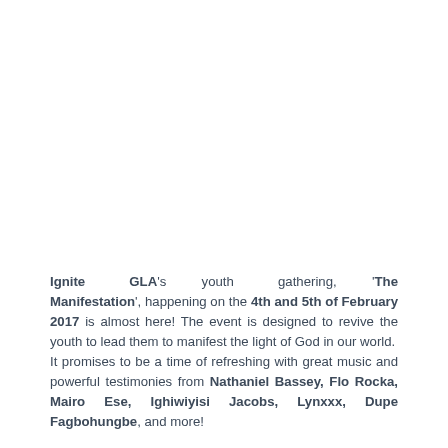Ignite GLA's youth gathering, 'The Manifestation', happening on the 4th and 5th of February 2017 is almost here! The event is designed to revive the youth to lead them to manifest the light of God in our world. It promises to be a time of refreshing with great music and powerful testimonies from Nathaniel Bassey, Flo Rocka, Mairo Ese, Ighiwiyisi Jacobs, Lynxxx, Dupe Fagbohungbe, and more!